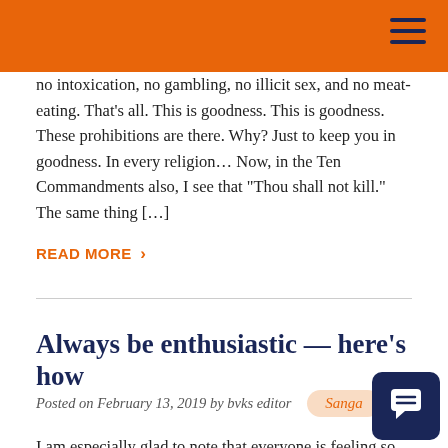no intoxication, no gambling, no illicit sex, and no meat-eating. That's all. This is goodness. This is goodness. These prohibitions are there. Why? Just to keep you in goodness. In every religion… Now, in the Ten Commandments also, I see that "Thou shall not kill." The same thing […]
READ MORE ›
Always be enthusiastic — here's how
Posted on February 13, 2019 by bvks editor   Sanga
I am especially glad to note that everyone is feeling so much enthusiasm to work very hard in this preaching mission. That enthusiasm must be maintained under all circumstance. That price for entering into Krsna's kingdom. And maya is always trying to